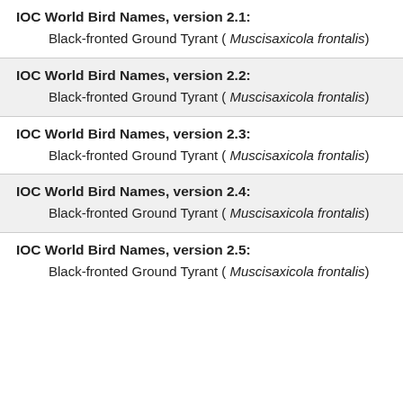IOC World Bird Names, version 2.1:
Black-fronted Ground Tyrant ( Muscisaxicola frontalis)
IOC World Bird Names, version 2.2:
Black-fronted Ground Tyrant ( Muscisaxicola frontalis)
IOC World Bird Names, version 2.3:
Black-fronted Ground Tyrant ( Muscisaxicola frontalis)
IOC World Bird Names, version 2.4:
Black-fronted Ground Tyrant ( Muscisaxicola frontalis)
IOC World Bird Names, version 2.5:
Black-fronted Ground Tyrant ( Muscisaxicola frontalis)